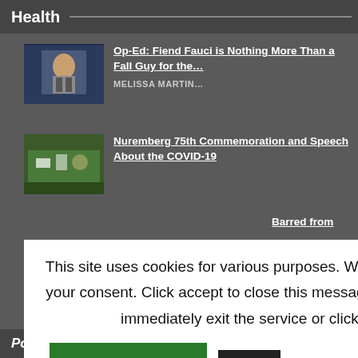Health
Op-Ed: Fiend Fauci is Nothing More Than a Fall Guy for the…
MELISSA MARTIN…
[Figure (photo): Thumbnail photo of Dr. Fauci speaking in front of a blue background]
Nuremberg 75th Commemoration and Speech About the COVID-19
[Figure (photo): Thumbnail photo of outdoor gathering with signs]
Barred from
er the Fauci
This site uses cookies for various purposes. We're legally required to request your consent. Click accept to close this message. If you do not agree, please immediately exit the service or click more to learn why.
Accept
More
Politics
[Figure (other): Red scroll-to-top button with up arrow icon]